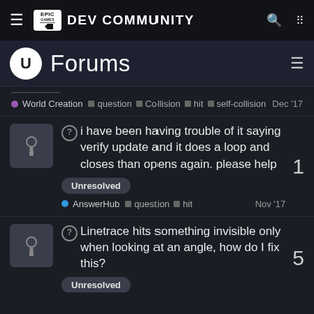EPIC GAMES DEV COMMUNITY
Forums
World Creation • question ▪ Collision ▪ hit ▪ self-collision  Dec '17
❓ i have been having trouble of it saying verify update and it does a loop and closes than opens again. please help  Unresolved • AnswerHub ▪ question ▪ hit  Nov '17  1
❓ Linetrace hits something invisible only when looking at an angle, how do I fix this?  Unresolved  5